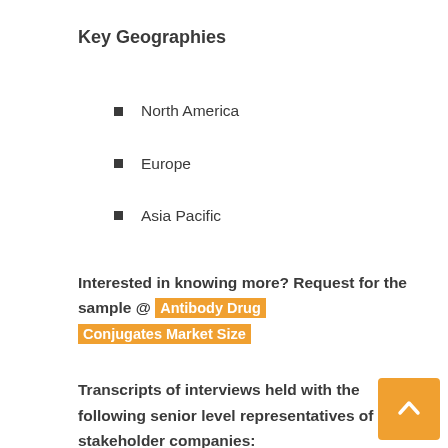Key Geographies
North America
Europe
Asia Pacific
Interested in knowing more? Request for the sample @ Antibody Drug Conjugates Market Size
Transcripts of interviews held with the following senior level representatives of stakeholder companies: